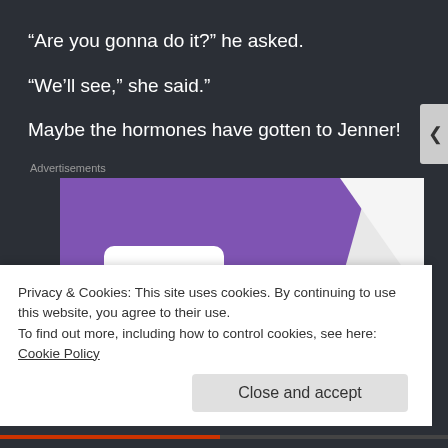“Are you gonna do it?” he asked.
“We’ll see,” she said.”
Maybe the hormones have gotten to Jenner!
Advertisements
[Figure (logo): WooCommerce advertisement banner with purple background and WooCommerce logo in white text, with teal and white geometric shapes]
Privacy & Cookies: This site uses cookies. By continuing to use this website, you agree to their use.
To find out more, including how to control cookies, see here: Cookie Policy
Close and accept